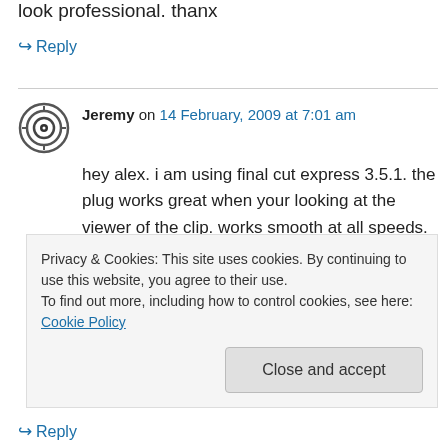look professional. thanx
↪ Reply
Jeremy on 14 February, 2009 at 7:01 am
hey alex. i am using final cut express 3.5.1. the plug works great when your looking at the viewer of the clip. works smooth at all speeds. however when i look at the viewer of the clip when in the sequence the clip looks like you've reduced the quality to that of a low qual youtube vid. i cant
Privacy & Cookies: This site uses cookies. By continuing to use this website, you agree to their use.
To find out more, including how to control cookies, see here: Cookie Policy
Close and accept
↪ Reply